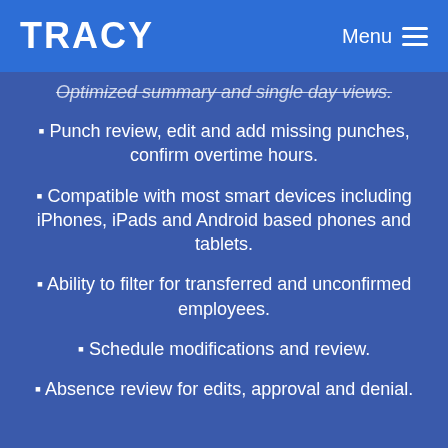TRACY   Menu ≡
Optimized summary and single day views.
Punch review, edit and add missing punches, confirm overtime hours.
Compatible with most smart devices including iPhones, iPads and Android based phones and tablets.
Ability to filter for transferred and unconfirmed employees.
Schedule modifications and review.
Absence review for edits, approval and denial.